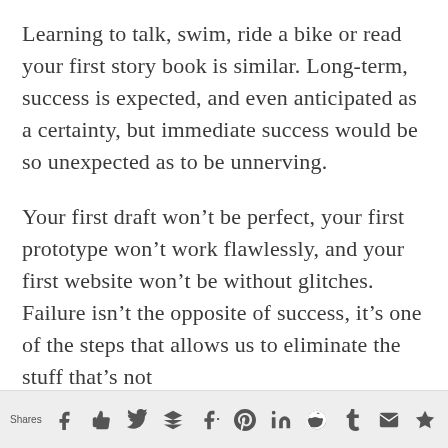Learning to talk, swim, ride a bike or read your first story book is similar. Long-term, success is expected, and even anticipated as a certainty, but immediate success would be so unexpected as to be unnerving.
Your first draft won't be perfect, your first prototype won't work flawlessly, and your first website won't be without glitches. Failure isn't the opposite of success, it's one of the steps that allows us to eliminate the stuff that's not
Shares [social sharing icons: Facebook, Like, Twitter, Buffer, Google+, Pinterest, LinkedIn, Reddit, Tumblr, Email, Crown]